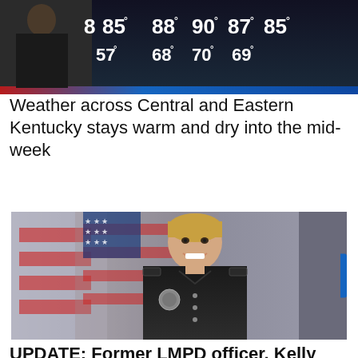[Figure (screenshot): Weather forecast screenshot showing temperatures: 85°, 88°, 90°, 87°, 85° on top row and 57°, 68°, 70°, 69° on bottom row against a dark background with a news anchor visible on the left]
Weather across Central and Eastern Kentucky stays warm and dry into the mid-week
[Figure (photo): Official police portrait photo of a smiling blonde woman in a black police uniform, standing in front of an American flag, against a gray background]
UPDATE: Former LMPD officer, Kelly